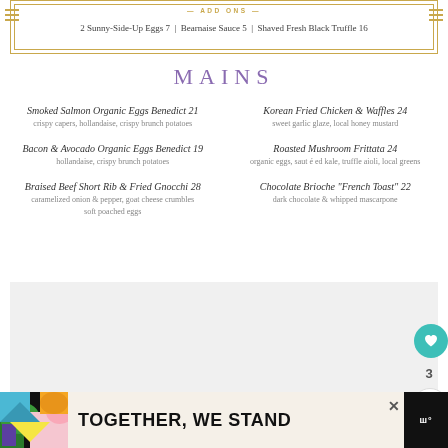ADD ONS
2 Sunny-Side-Up Eggs 7  |  Bearnaise Sauce 5  |  Shaved Fresh Black Truffle 16
MAINS
Smoked Salmon Organic Eggs Benedict  21 — crispy capers, hollandaise, crispy brunch potatoes
Korean Fried Chicken & Waffles 24 — sweet garlic glaze, local honey mustard
Bacon & Avocado Organic Eggs Benedict 19 — hollandaise, crispy brunch potatoes
Roasted Mushroom Frittata 24 — organic eggs, sauté ed kale, truffle aioli, local greens
Braised Beef Short Rib & Fried Gnocchi  28 — caramelized onion & pepper, goat cheese crumbles, soft poached eggs
Chocolate Brioche "French Toast"  22 — dark chocolate & whipped mascarpone
[Figure (photo): Large light gray section, appears to be a photo carousel placeholder area with three small square dots below it]
TOGETHER, WE STAND